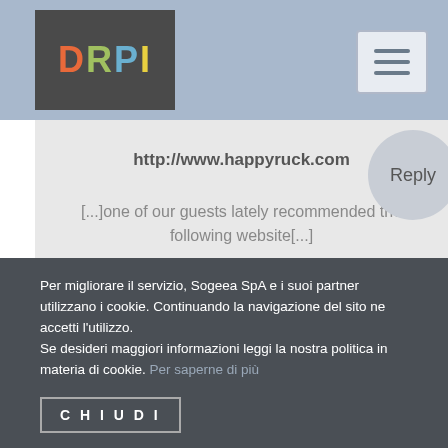DRPI
http://www.happyruck.com
[...]one of our guests lately recommended the following website[...]
Per migliorare il servizio, Sogeea SpA e i suoi partner utilizzano i cookie. Continuando la navigazione del sito ne accetti l'utilizzo.
Se desideri maggiori informazioni leggi la nostra politica in materia di cookie. Per saperne di più
CHIUDI